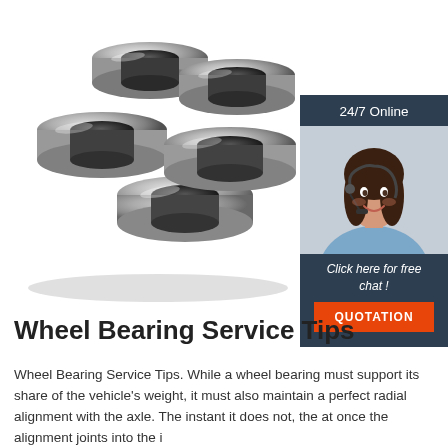[Figure (photo): Multiple shiny metal ball bearings (wheel bearings) grouped together on a white background]
[Figure (infographic): 24/7 Online chat widget showing a woman with a headset smiling, with text 'Click here for free chat!' and an orange QUOTATION button]
Wheel Bearing Service Tips
Wheel Bearing Service Tips. While a wheel bearing must support its share of the vehicle's weight, it must also maintain a perfect radial alignment with the axle. The instant it does not, the at once the alignment joints into the i...